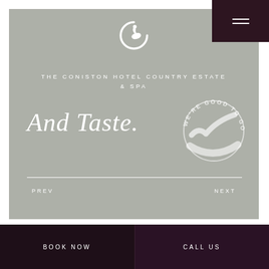[Figure (logo): Coniston Hotel swan logo in white, circular C with swan]
THE CONISTON HOTEL COUNTRY ESTATE & SPA
And Taste.
[Figure (illustration): We're Good To Go circular badge/seal in light grey]
PREV
NEXT
BOOK NOW
CALL US